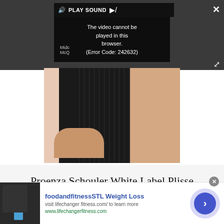[Figure (screenshot): Video player with dark background showing error message: 'The video cannot be played in this browser. (Error Code: 242632)' with PLAY SOUND control and close/expand buttons. Below is a fashion photo showing a model wearing a black pleated dress with peach/blush colorblock panel.]
PLAY SOUND
The video cannot be played in this browser. (Error Code: 242632)
Midc
McQ
Proenza Schouler White Label Plisse
[Figure (screenshot): Advertisement banner: foodandfitnessSTL Weight Loss - visit lifechanger fitness.com/ to learn more - www.lifechargerfitness.com. Shows a person holding a blue water bottle on the left, and a blue circular CTA button with arrow on the right.]
foodandfitness STL Weight Loss
visit lifechanger fitness.com/ to learn more
www.lifechangerfitness.com